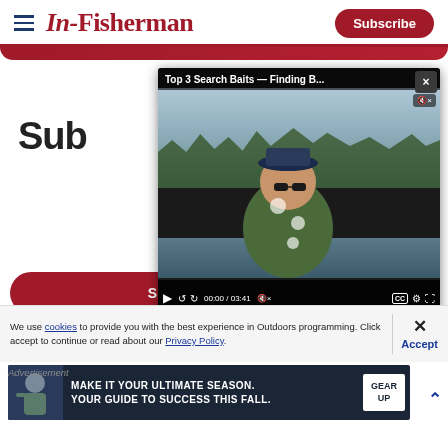In-Fisherman — Subscribe button
[Figure (screenshot): Video player overlay showing a fisherman on a lake with title 'Top 3 Search Baits — Finding B...' and controls showing 00:00 / 03:41]
Sub
SUBSCRIBE NOW
We use cookies to provide you with the best experience in Outdoors programming. Click accept to continue or read about our Privacy Policy.
Advertisement
[Figure (infographic): Advertisement banner: 'MAKE IT YOUR ULTIMATE SEASON. YOUR GUIDE TO SUCCESS THIS FALL.' with GEAR UP button]